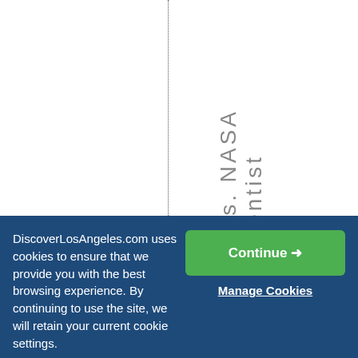[Figure (screenshot): White background area with a vertical dotted line and vertical text reading 'Mars. NASA scientist' oriented vertically from bottom to top, rendered in gray on a white background.]
DiscoverLosAngeles.com uses cookies to ensure that we provide you with the best browsing experience. By continuing to use the site, we will retain your current cookie settings.
Continue →
Manage Cookies